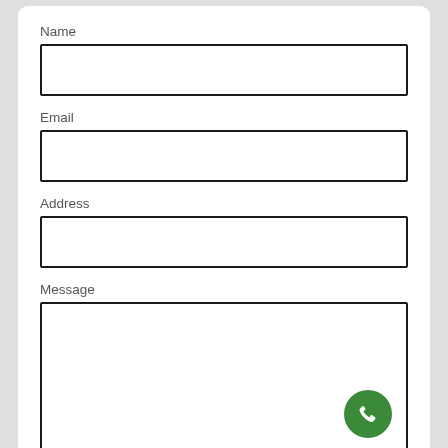Name
[Figure (other): Empty input field for Name]
Email
[Figure (other): Empty input field for Email]
Address
[Figure (other): Empty input field for Address]
Message
[Figure (other): Empty textarea for Message with green phone button overlay]